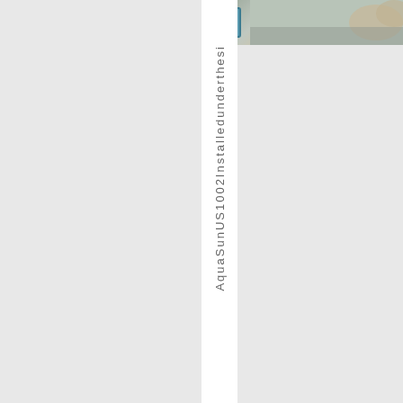[Figure (photo): Close-up photo of a device or component with a blue/teal colored part and a white circular element, hands visible in background]
AquaSunUS1002Installedunderthesi